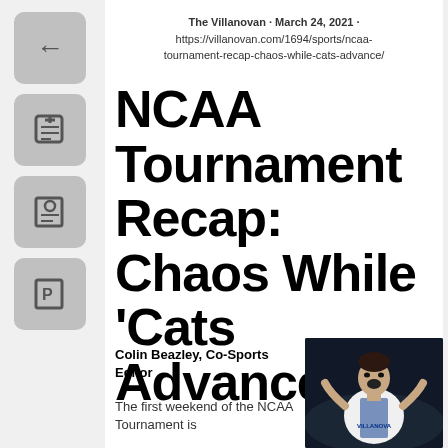The Villanovan · March 24, 2021 · https://villanovan.com/1694/sports/ncaa-tournament-recap-chaos-while-cats-advance/
NCAA Tournament Recap: Chaos While 'Cats Advance
Colin Beazley, Co-Sports Editor
The first weekend of the NCAA Tournament is
[Figure (photo): Basketball player in Villanova jersey celebrating with mouth open, dark background]